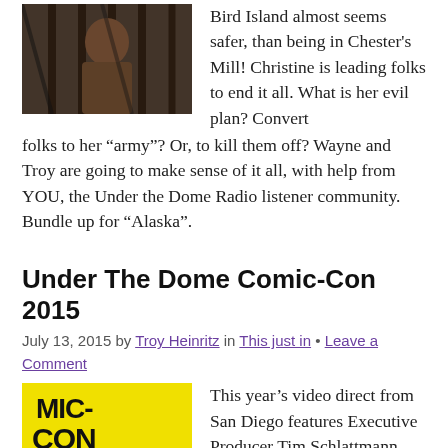[Figure (photo): Dark photo showing a person behind bars or a cage-like structure]
Bird Island almost seems safer, than being in Chester's Mill! Christine is leading folks to end it all. What is her evil plan? Convert folks to her “army”? Or, to kill them off? Wayne and Troy are going to make sense of it all, with help from YOU, the Under the Dome Radio listener community. Bundle up for “Alaska”.
Under The Dome Comic-Con 2015
July 13, 2015 by Troy Heinritz in This just in • Leave a Comment
[Figure (logo): Comic-Con logo with yellow text on black and grey background with illustrated eye]
This year’s video direct from San Diego features Executive Producer Tim Schlattmann joined by actors Colin Ford, Marg Helgenberger & Mike Vogel for